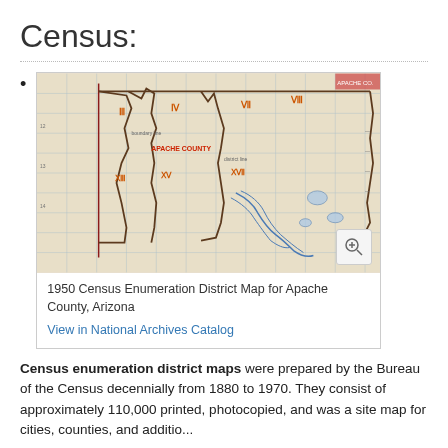Census:
[Figure (map): 1950 Census Enumeration District Map for Apache County, Arizona — a hand-drawn map with colored boundary lines on grid paper showing county districts]
1950 Census Enumeration District Map for Apache County, Arizona
View in National Archives Catalog
Census enumeration district maps were prepared by the Bureau of the Census decennially from 1880 to 1970. They consist of approximately 110,000 printed, photocopied, and was a site map for cities, counties, and additional...